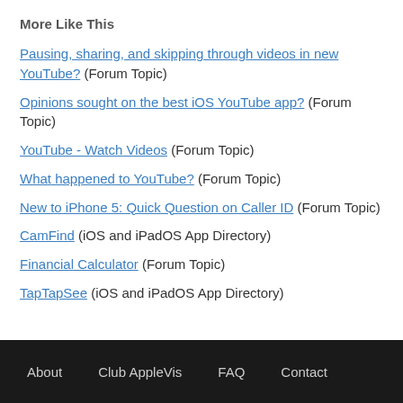More Like This
Pausing, sharing, and skipping through videos in new YouTube? (Forum Topic)
Opinions sought on the best iOS YouTube app? (Forum Topic)
YouTube - Watch Videos (Forum Topic)
What happened to YouTube? (Forum Topic)
New to iPhone 5: Quick Question on Caller ID (Forum Topic)
CamFind (iOS and iPadOS App Directory)
Financial Calculator (Forum Topic)
TapTapSee (iOS and iPadOS App Directory)
About  Club AppleVis  FAQ  Contact